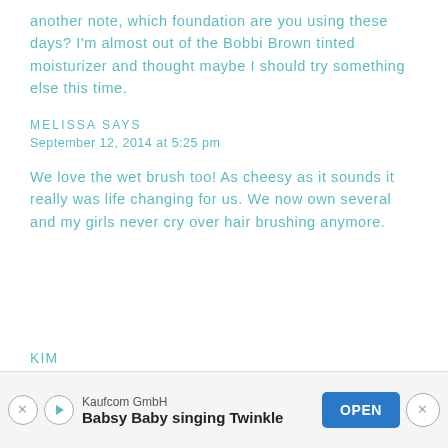another note, which foundation are you using these days? I'm almost out of the Bobbi Brown tinted moisturizer and thought maybe I should try something else this time.
MELISSA SAYS
September 12, 2014 at 5:25 pm
We love the wet brush too! As cheesy as it sounds it really was life changing for us. We now own several and my girls never cry over hair brushing anymore.
[Figure (other): Advertisement banner for Kaufcom GmbH - Babsy Baby singing Twinkle with OPEN button and close button]